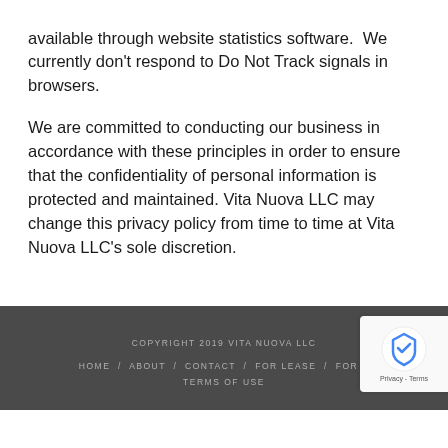available through website statistics software.  We currently don't respond to Do Not Track signals in browsers.
We are committed to conducting our business in accordance with these principles in order to ensure that the confidentiality of personal information is protected and maintained. Vita Nuova LLC may change this privacy policy from time to time at Vita Nuova LLC's sole discretion.
COPYRIGHT 2019 VITA NUOVA LLC
HOME / ABOUT / CONTACT / FOR LEASE / FOR S... TERMS OF USE